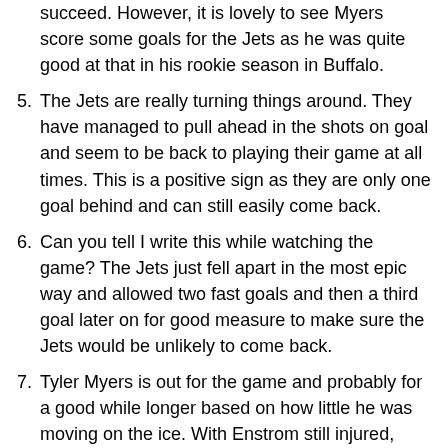succeed. However, it is lovely to see Myers score some goals for the Jets as he was quite good at that in his rookie season in Buffalo.
5. The Jets are really turning things around. They have managed to pull ahead in the shots on goal and seem to be back to playing their game at all times. This is a positive sign as they are only one goal behind and can still easily come back.
6. Can you tell I write this while watching the game? The Jets just fell apart in the most epic way and allowed two fast goals and then a third goal later on for good measure to make sure the Jets would be unlikely to come back.
7. Tyler Myers is out for the game and probably for a good while longer based on how little he was moving on the ice. With Enstrom still injured, Sami